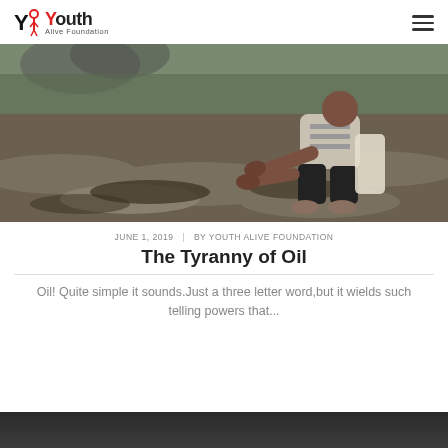Youth Alive Foundation
[Figure (photo): A man crouching over oil-contaminated muddy ground, hands touching the dark soil, with smoke and polluted landscape in the background.]
JUNE 1, 2019 | BY YOUTH ALIVE FOUNDATION
The Tyranny of Oil
Oil! Quite simple it sounds.Just a three letter word,but it wields such telling powers that...
[Figure (photo): Dark gradient background image at the bottom of the page, partially visible.]